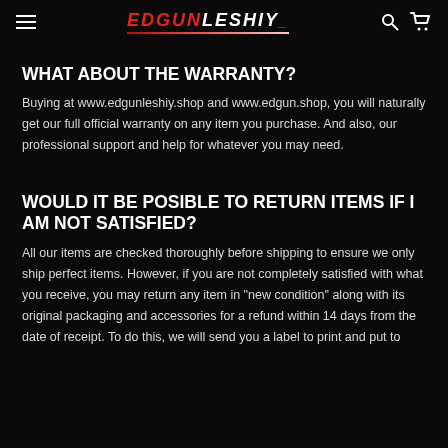EDGUNLESHIY
WHAT ABOUT THE WARRANTY?
Buying at www.edgunleshiy.shop and www.edgun.shop, you will naturally get our full official warranty on any item you purchase. And also, our professional support and help for whatever you may need.
WOULD IT BE POSIBLE TO RETURN ITEMS IF I AM NOT SATISFIED?
All our items are checked thoroughly before shipping to ensure we only ship perfect items. However, if you are not completely satisfied with what you receive, you may return any item in "new condition" along with its original packaging and accessories for a refund within 14 days from the date of receipt. To do this, we will send you a label to print and put to